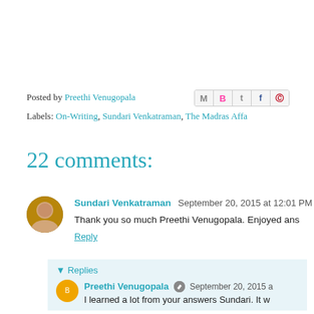Posted by Preethi Venugopala [share icons]
Labels: On-Writing, Sundari Venkatraman, The Madras Affa
22 comments:
Sundari Venkatraman  September 20, 2015 at 12:01 PM
Thank you so much Preethi Venugopala. Enjoyed ans
Reply
▾ Replies
Preethi Venugopala  September 20, 2015 a
I learned a lot from your answers Sundari. It w